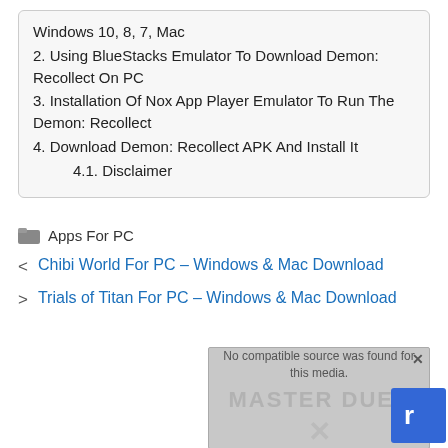Windows 10, 8, 7, Mac
2. Using BlueStacks Emulator To Download Demon: Recollect On PC
3. Installation Of Nox App Player Emulator To Run The Demon: Recollect
4. Download Demon: Recollect APK And Install It
4.1. Disclaimer
Apps For PC
< Chibi World For PC – Windows & Mac Download
> Trials of Titan For PC – Windows & Mac Download
[Figure (screenshot): Video player overlay showing 'No compatible source was found for this media.' with MASTER DUEL branding and an X mark below]